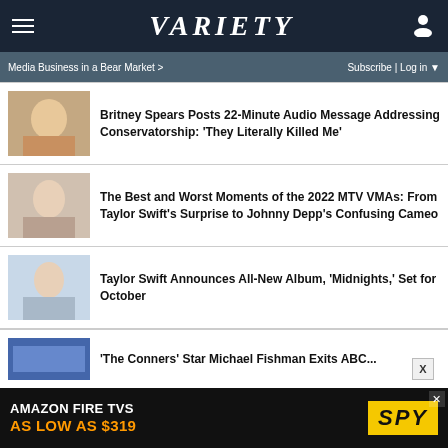VARIETY
Media Business in a Bear Market >   Subscribe | Log in
Britney Spears Posts 22-Minute Audio Message Addressing Conservatorship: ‘They Literally Killed Me’
The Best and Worst Moments of the 2022 MTV VMAs: From Taylor Swift’s Surprise to Johnny Depp’s Confusing Cameo
Taylor Swift Announces All-New Album, ‘Midnights,’ Set for October
‘The Conners’ Star Michael Fishman Exits ABC...
[Figure (screenshot): Amazon Fire TVs advertisement banner: AMAZON FIRE TVS / AS LOW AS $319 / SPY]